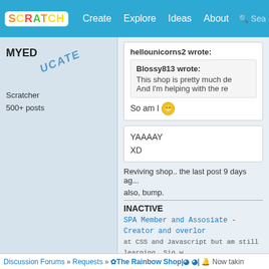SCRATCH | Create | Explore | Ideas | About | Search
[Figure (logo): MYEDUCATE username with stylized diagonal text]
Scratcher
500+ posts
hellounicorns2 wrote:
Blossy813 wrote:
This shop is pretty much de...
And I'm helping with the re...
So am I 😁
YAAAAY
XD
Reviving shop.. the last post 9 days ag...
also, bump.
INACTIVE
SPA Member and Assosiate - Creator and overlor...
at CSS and Javascript but am still learning. Sig w...
Discussion Forums » Requests » ✿The Rainbow Shop|◕  ◕| Now takin...